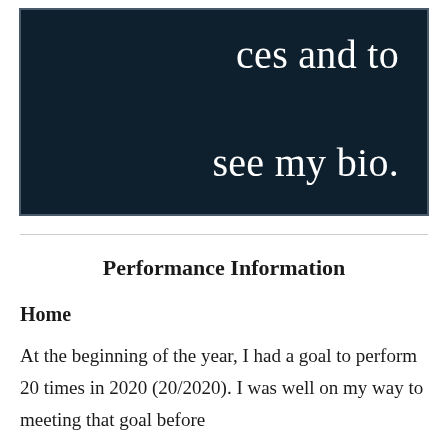[Figure (other): Dark navy banner with white serif text reading 'ces and to see my bio.' with a decorative border]
Performance Information
Home
At the beginning of the year, I had a goal to perform 20 times in 2020 (20/2020).  I was well on my way to meeting that goal before...